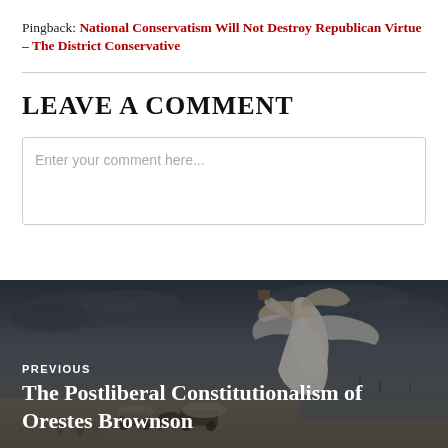Pingback: National Conservatism Will Not Destroy Republican Virtue – The District Conservative
LEAVE A COMMENT
Enter your comment here...
[Figure (illustration): Dark painted background depicting an allegory scene (American Progress) with a robed female figure in white flowing garments, storm clouds, covered wagons and settlers in the background. Text overlay: PREVIOUS / The Postliberal Constitutionalism of Orestes Brownson]